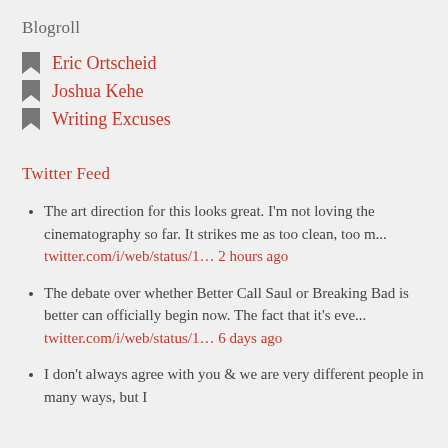Blogroll
Eric Ortscheid
Joshua Kehe
Writing Excuses
Twitter Feed
The art direction for this looks great. I'm not loving the cinematography so far. It strikes me as too clean, too m... twitter.com/i/web/status/1... 2 hours ago
The debate over whether Better Call Saul or Breaking Bad is better can officially begin now. The fact that it's eve... twitter.com/i/web/status/1... 6 days ago
I don't always agree with you & we are very different people in many ways, but I